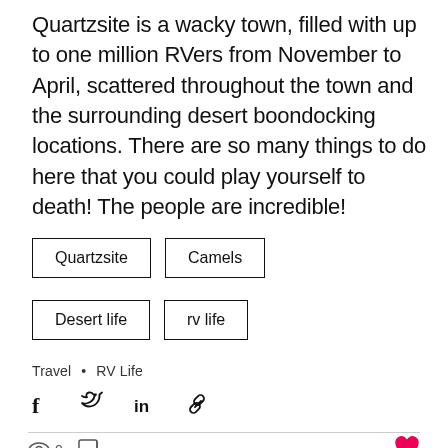Quartzsite is a wacky town, filled with up to one million RVers from November to April, scattered throughout the town and the surrounding desert boondocking locations. There are so many things to do here that you could play yourself to death! The people are incredible!
Quartzsite
Camels
Desert life
rv life
Travel • RV Life
[Figure (infographic): Social share icons: Facebook, Twitter, LinkedIn, Link]
[Figure (infographic): Bottom bar with eye/views icon showing 0, comment icon, and red heart/like icon]